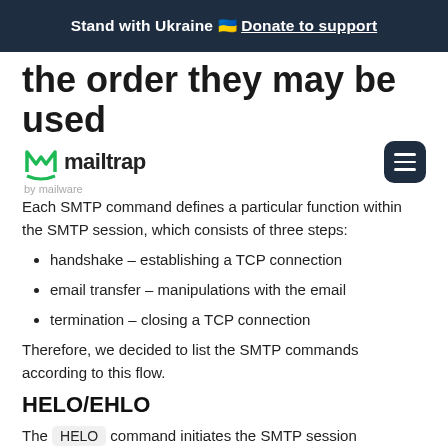Stand with Ukraine 🇺🇦 Donate to support
the order they may be used
Each SMTP command defines a particular function within the SMTP session, which consists of three steps:
handshake – establishing a TCP connection
email transfer – manipulations with the email
termination – closing a TCP connection
Therefore, we decided to list the SMTP commands according to this flow.
HELO/EHLO
The HELO command initiates the SMTP session conversation. The client greets the server and introduces itself. As a rule, HELO is attributed with an argument